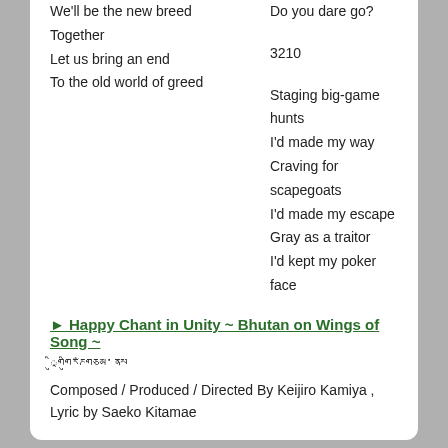We'll be the new breed
Together
Let us bring an end
To the old world of greed
Do you dare go?
3210
Staging big-game hunts
I'd made my way
Craving for scapegoats
I'd made my escape
Gray as a traitor
I'd kept my poker face
No more!
► Happy Chant in Unity ~ Bhutan on Wings of Song ~
འབྲུག་གི་གླུ་དབྱངས་ཀྱི་གཤོག་རྩལ་ལ།
Composed / Produced / Directed By Keijiro Kamiya , Lyric by Saeko Kitamae